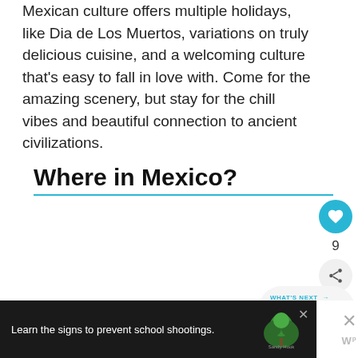Mexican culture offers multiple holidays, like Dia de Los Muertos, variations on truly delicious cuisine, and a welcoming culture that's easy to fall in love with. Come for the amazing scenery, but stay for the chill vibes and beautiful connection to ancient civilizations.
Where in Mexico?
[Figure (other): Sidebar with heart/like button (blue circle with heart icon), count number 9, and share button (light grey circle with share icon)]
[Figure (other): What's Next panel with label 'WHAT'S NEXT →' and text 'New Mexico Guide' on rounded grey card]
[Figure (other): Advertisement banner at bottom: dark background with text 'Learn the signs to prevent school shootings.' and Sandy Hook Promise logo tree graphic. Right side has X close button and WP logo.]